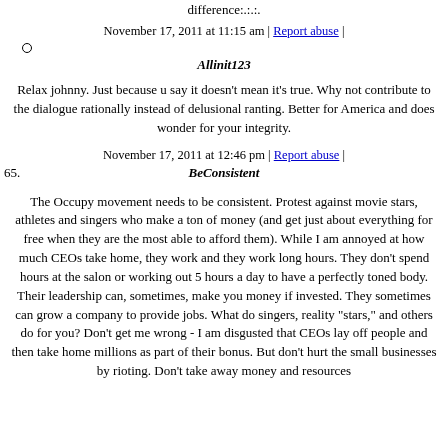difference:.:.:
November 17, 2011 at 11:15 am | Report abuse |
Allinit123
Relax johnny. Just because u say it doesn't mean it's true. Why not contribute to the dialogue rationally instead of delusional ranting. Better for America and does wonder for your integrity.
November 17, 2011 at 12:46 pm | Report abuse |
65. BeConsistent
The Occupy movement needs to be consistent. Protest against movie stars, athletes and singers who make a ton of money (and get just about everything for free when they are the most able to afford them). While I am annoyed at how much CEOs take home, they work and they work long hours. They don't spend hours at the salon or working out 5 hours a day to have a perfectly toned body. Their leadership can, sometimes, make you money if invested. They sometimes can grow a company to provide jobs. What do singers, reality "stars," and others do for you? Don't get me wrong - I am disgusted that CEOs lay off people and then take home millions as part of their bonus. But don't hurt the small businesses by rioting. Don't take away money and resources